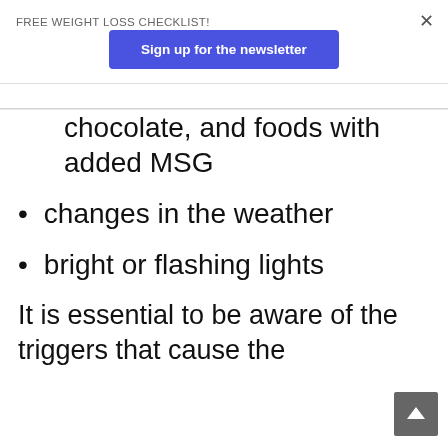FREE WEIGHT LOSS CHECKLIST!
Sign up for the newsletter
chocolate, and foods with added MSG
changes in the weather
bright or flashing lights
It is essential to be aware of the triggers that cause the